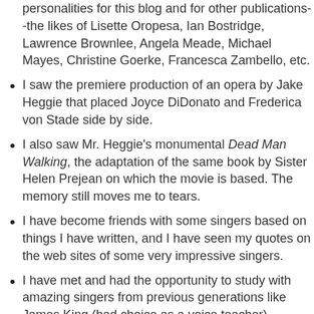personalities for this blog and for other publications--the likes of Lisette Oropesa, Ian Bostridge, Lawrence Brownlee, Angela Meade, Michael Mayes, Christine Goerke, Francesca Zambello, etc.
I saw the premiere production of an opera by Jake Heggie that placed Joyce DiDonato and Frederica von Stade side by side.
I also saw Mr. Heggie's monumental Dead Man Walking, the adaptation of the same book by Sister Helen Prejean on which the movie is based. The memory still moves me to tears.
I have become friends with some singers based on things I have written, and I have seen my quotes on the web sites of some very impressive singers.
I have met and had the opportunity to study with amazing singers from previous generations like James King (bad choice as a voice teacher), Virginia Zeani (bad choice to not study with her),